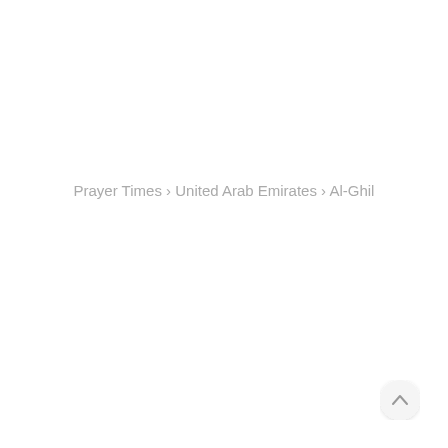Prayer Times › United Arab Emirates › Al-Ghil
[Figure (other): Scroll-to-top circular button in the bottom-right corner with an upward chevron arrow icon]